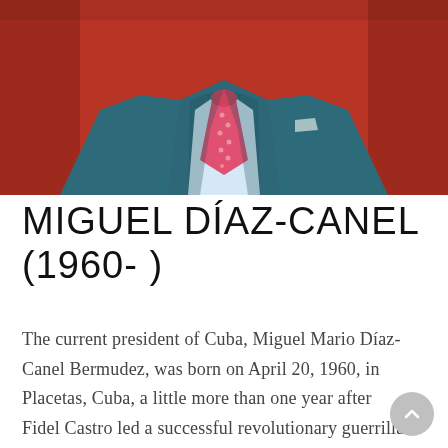[Figure (photo): Photo of Miguel Díaz-Canel from the torso up, wearing a teal/dark blue suit with a light blue shirt and pink/red patterned tie, against a reddish-orange background. Only the body below the chin is visible.]
MIGUEL DÍAZ-CANEL (1960- )
The current president of Cuba, Miguel Mario Díaz-Canel Bermudez, was born on April 20, 1960, in Placetas, Cuba, a little more than one year after Fidel Castro led a successful revolutionary guerrilla movement to take